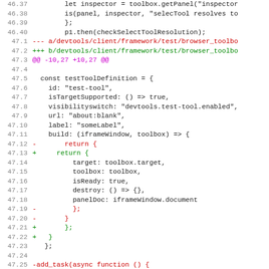[Figure (screenshot): Code diff screenshot showing lines 46.37 through 47.29 of a JavaScript test file for browser devtools, with line numbers on the left, and diff markers (red minus, green plus, magenta @@ hunks). The code shows a testToolDefinition object and an add_task function.]